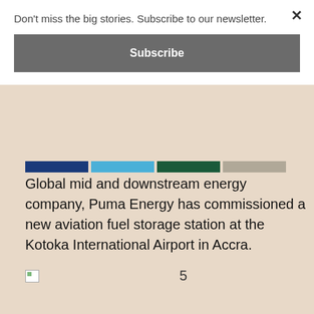Don't miss the big stories. Subscribe to our newsletter.
Subscribe
Global mid and downstream energy company, Puma Energy has commissioned a new aviation fuel storage station at the Kotoka International Airport in Accra.
5